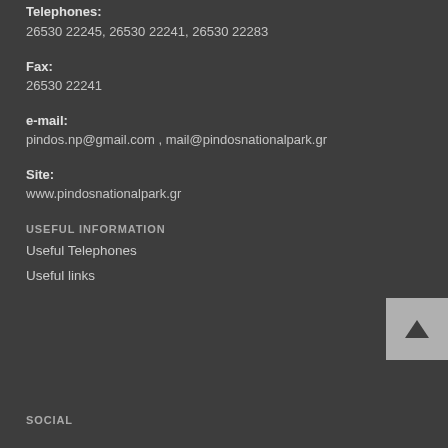Telephones:
26530 22245, 26530 22241, 26530 22283
Fax:
26530 22241
e-mail:
pindos.np@gmail.com , mail@pindosnationalpark.gr
Site:
www.pindosnationalpark.gr
USEFUL INFORMATION
Useful Telephones
Useful links
SOCIAL